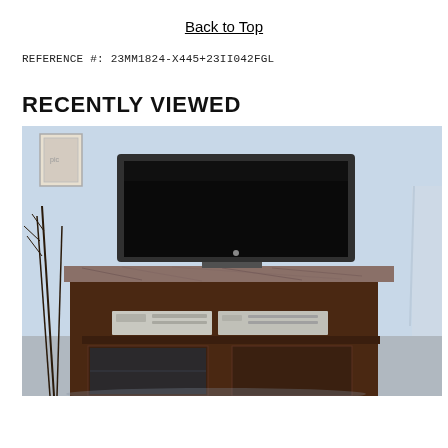Back to Top
REFERENCE #: 23MM1824-X445+23II042FGL
RECENTLY VIEWED
[Figure (photo): Photo of a dark espresso TV stand with a marble-look top, holding a flat-screen television on top and electronic components (DVD player, receiver) on the shelves, set against a light blue wall with decorative branches and a framed picture.]